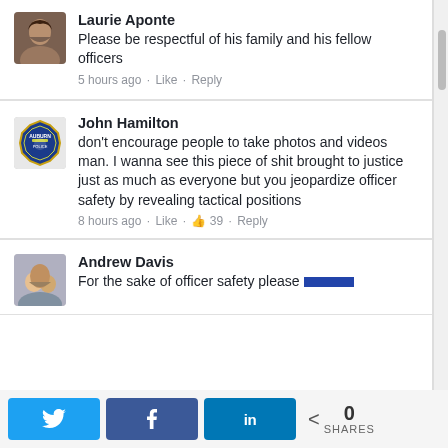Laurie Aponte — Please be respectful of his family and his fellow officers — 5 hours ago · Like · Reply
John Hamilton — don't encourage people to take photos and videos man. I wanna see this piece of shit brought to justice just as much as everyone but you jeopardize officer safety by revealing tactical positions — 8 hours ago · Like · 39 · Reply
Andrew Davis — For the sake of officer safety please
0 SHARES